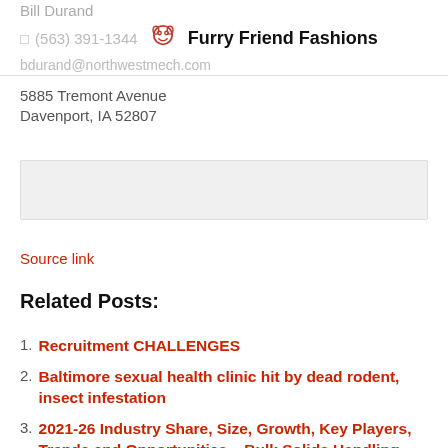Bill Durand
(563) 391-1344
Furry Friend Fashions
bdurand@northwestmech.com
5885 Tremont Avenue
Davenport, IA 52807
[Figure (other): Gray placeholder/input box]
Source link
Related Posts:
Recruitment CHALLENGES
Baltimore sexual health clinic hit by dead rodent, insect infestation
2021-26 Industry Share, Size, Growth, Key Players, Trends and Opportunities – Bulk Solids Handling